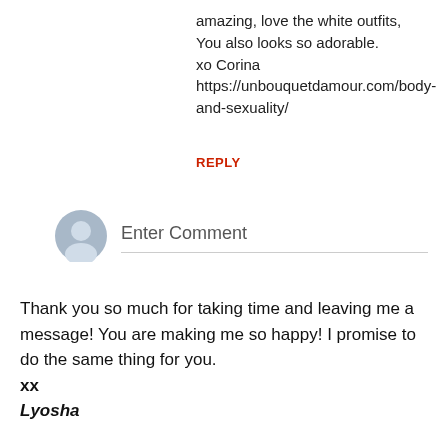amazing, love the white outfits, You also looks so adorable.
xo Corina
https://unbouquetdamour.com/body-and-sexuality/
REPLY
[Figure (illustration): Generic user avatar icon — grey silhouette of a person on a light blue-grey circular background]
Enter Comment
Thank you so much for taking time and leaving me a message! You are making me so happy! I promise to do the same thing for you.
xx
Lyosha